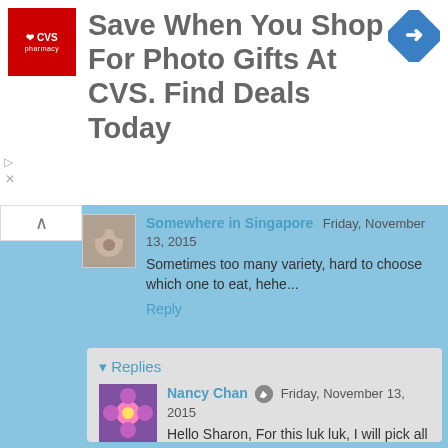[Figure (screenshot): CVS Pharmacy advertisement banner with logo and text 'Save When You Shop For Photo Gifts At CVS. Find Deals Today']
Somewhere in Singapore Friday, November 13, 2015
Sometimes too many variety, hard to choose which one to eat, hehe...
Reply
Replies
Nancy Chan Friday, November 13, 2015
Hello Sharon, For this luk luk, I will pick all that I like to eat. Don't worry, there are also some we don't like to eat. Have a great Friday!
Reply